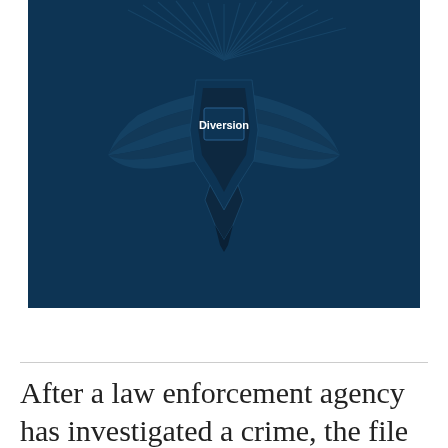[Figure (logo): DEA Diversion Control Division logo — dark navy shield/eagle emblem with radiating lines and the word 'Diversion' in white bold text centered on the emblem, on a dark navy background.]
After a law enforcement agency has investigated a crime, the file is